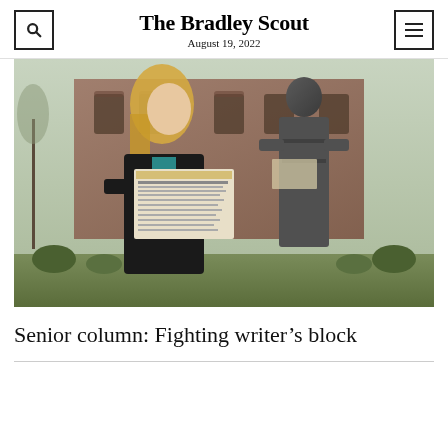The Bradley Scout
August 19, 2022
[Figure (photo): A young woman with long blonde hair wearing a black jacket holds open a copy of The Bradley Scout newspaper, standing next to a bronze statue of a woman on a college campus with brick buildings and greenery in the background.]
Senior column: Fighting writer’s block